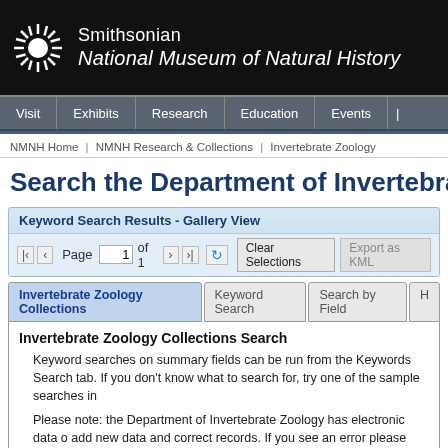[Figure (logo): Smithsonian sunburst logo with white rays on black background]
Smithsonian
National Museum of Natural History
Visit | Exhibits | Research | Education | Events
NMNH Home | NMNH Research & Collections | Invertebrate Zoology
Search the Department of Invertebrate
Keyword Search Results - Gallery View
Page 1 of 1  Clear Selections  Export as KML
Invertebrate Zoology Collections | Keyword Search | Search by Field | H
Invertebrate Zoology Collections Search
Keyword searches on summary fields can be run from the Keywords Search tab. If you don't know what to search for, try one of the sample searches in
Please note: the Department of Invertebrate Zoology has electronic data o add new data and correct records. If you see an error please use Feedbac